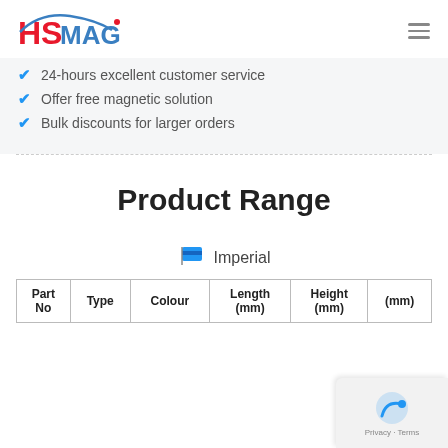HSMAG logo and navigation
24-hours excellent customer service
Offer free magnetic solution
Bulk discounts for larger orders
Product Range
🚩 Imperial
| Part No | Type | Colour | Length (mm) | Height (mm) | (mm) |
| --- | --- | --- | --- | --- | --- |